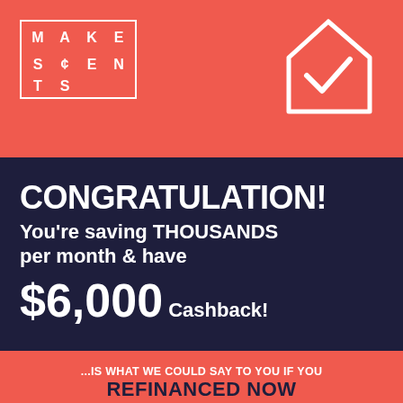[Figure (logo): Makes Cents logo: a grid of letters M A K E S / cent-sign E N T S in white on coral background with white border]
[Figure (illustration): White outline of a house/home icon with a checkmark inside, on coral background]
CONGRATULATION!
You're saving THOUSANDS per month & have $6,000 Cashback!
...IS WHAT WE COULD SAY TO YOU IF YOU REFINANCED NOW